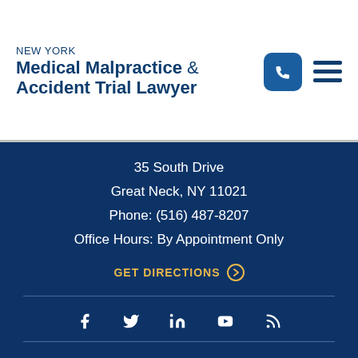NEW YORK Medical Malpractice & Accident Trial Lawyer
35 South Drive
Great Neck, NY 11021
Phone: (516) 487-8207
Office Hours: By Appointment Only
GET DIRECTIONS →
[Figure (other): Social media icons row: Facebook, Twitter, LinkedIn, YouTube, RSS feed]